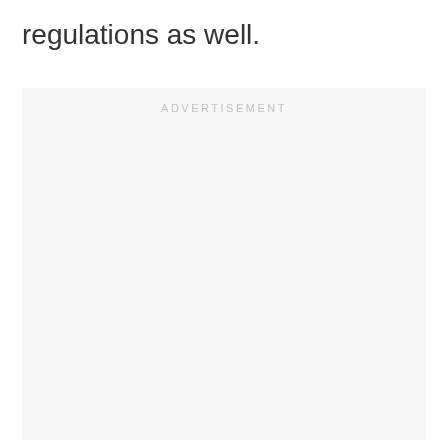regulations as well.
[Figure (other): Advertisement placeholder box with light gray background and the word ADVERTISEMENT centered at the top in light gray spaced capitals.]